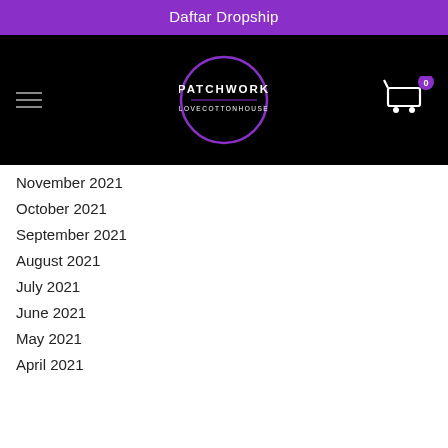Daftar Dropship
[Figure (logo): Patchwork Lovecottonhouse logo: circular purple outline with text PATCHWORK LOVECOTTONHOUSE inside on black background, with hamburger menu icon on left and shopping cart icon with badge 0 on right]
November 2021
October 2021
September 2021
August 2021
July 2021
June 2021
May 2021
April 2021